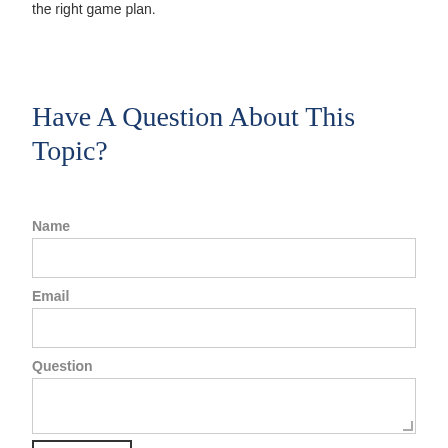the right game plan.
Have A Question About This Topic?
Name
Email
Question
SUBMIT